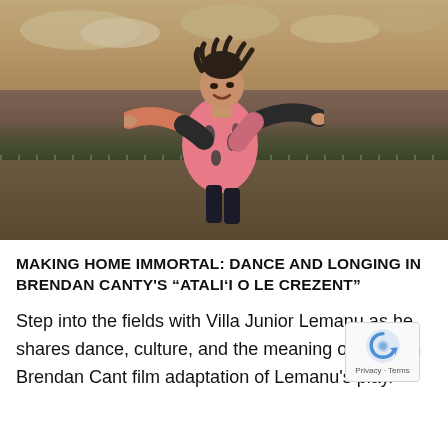[Figure (photo): A young man with dreadlocks wearing a pink and dark tropical-print shirt, arms outstretched joyfully on what appears to be a sports court or field, with trees, a chain-link fence, and a cloudy warm-toned sky in the background.]
MAKING HOME IMMORTAL: DANCE AND LONGING IN BRENDAN CANTY'S "ATALI'I O LE CREZENT"
Step into the fields with Villa Junior Lemanu as he shares dance, culture, and the meaning of home in Brendan Cant film adaptation of Lemanu's play.